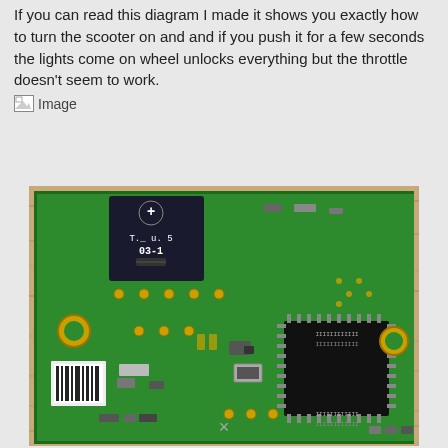If you can read this diagram I made it shows you exactly how to turn the scooter on and and if you push it for a few seconds the lights come on wheel unlocks everything but the throttle doesn't seem to work.
[Figure (photo): Photograph of a green PCB (printed circuit board) showing various electronic components including a large square IC chip with many legs, a potentiometer/variable resistor labeled 03-1 with a + symbol, SMD components, capacitors, mounting holes, and other surface-mount devices on a wooden background.]
×